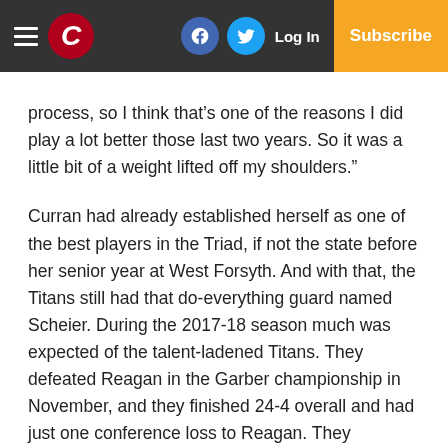C [logo] | [Facebook] [Twitter] Log In | Subscribe
process, so I think that’s one of the reasons I did play a lot better those last two years. So it was a little bit of a weight lifted off my shoulders.”
Curran had already established herself as one of the best players in the Triad, if not the state before her senior year at West Forsyth. And with that, the Titans still had that do-everything guard named Scheier. During the 2017-18 season much was expected of the talent-ladened Titans. They defeated Reagan in the Garber championship in November, and they finished 24-4 overall and had just one conference loss to Reagan. They defeated Reagan in the